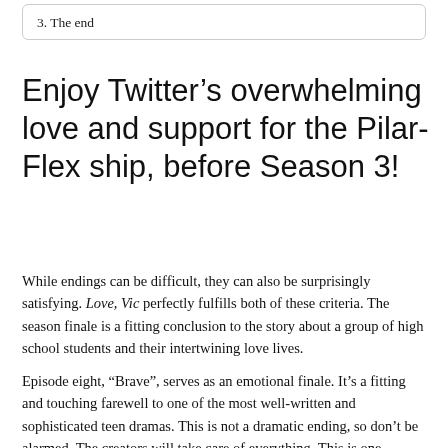3. The end
Enjoy Twitter’s overwhelming love and support for the Pilar-Flex ship, before Season 3!
While endings can be difficult, they can also be surprisingly satisfying. Love, Vic perfectly fulfills both of these criteria. The season finale is a fitting conclusion to the story about a group of high school students and their intertwining love lives.
Episode eight, “Brave”, serves as an emotional finale. It’s a fitting and touching farewell to one of the most well-written and sophisticated teen dramas. This is not a dramatic ending, so don’t be alarmed. The creators will take care of everything. This is one